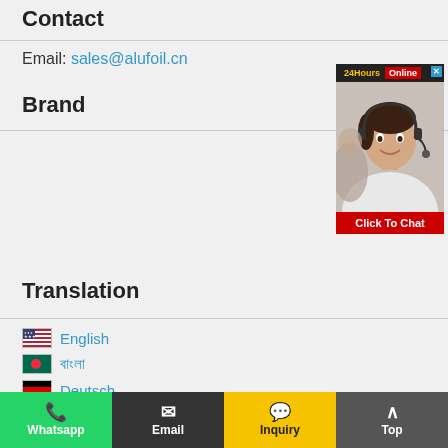Contact
Email: sales@alufoil.cn
Brand
[Figure (photo): Live chat widget showing a customer service representative with headset, '24Hours Online' label and 'Click To Chat' button]
Translation
English
বাংলা
Deutsch
اردو؛ اردو
Whatsapp | Email | Inquiry | Top